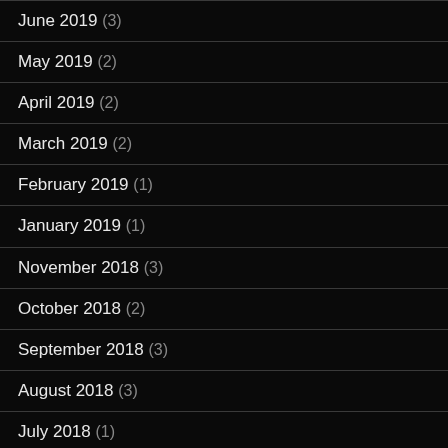June 2019 (3)
May 2019 (2)
April 2019 (2)
March 2019 (2)
February 2019 (1)
January 2019 (1)
November 2018 (3)
October 2018 (2)
September 2018 (3)
August 2018 (3)
July 2018 (1)
June 2018 (3)
May 2018 (1)